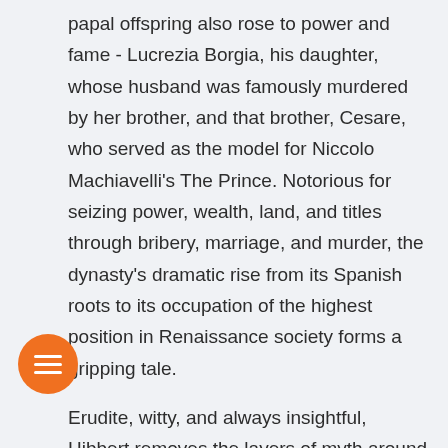papal offspring also rose to power and fame - Lucrezia Borgia, his daughter, whose husband was famously murdered by her brother, and that brother, Cesare, who served as the model for Niccolo Machiavelli's The Prince. Notorious for seizing power, wealth, land, and titles through bribery, marriage, and murder, the dynasty's dramatic rise from its Spanish roots to its occupation of the highest position in Renaissance society forms a gripping tale.
Erudite, witty, and always insightful, Hibbert removes the layers of myth around the Borgia family and creates a portrait alive with his superb sense of character and place.
By Christopher Hibbert